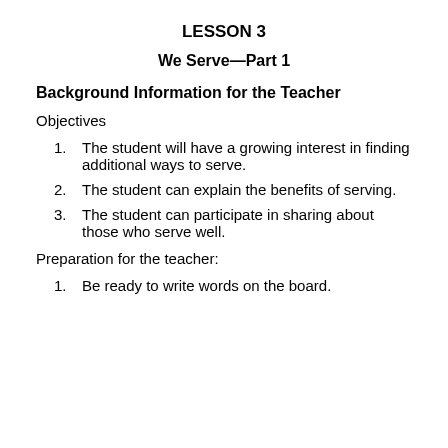LESSON 3
We Serve—Part 1
Background Information for the Teacher
Objectives
The student will have a growing interest in finding additional ways to serve.
The student can explain the benefits of serving.
The student can participate in sharing about those who serve well.
Preparation for the teacher:
Be ready to write words on the board.